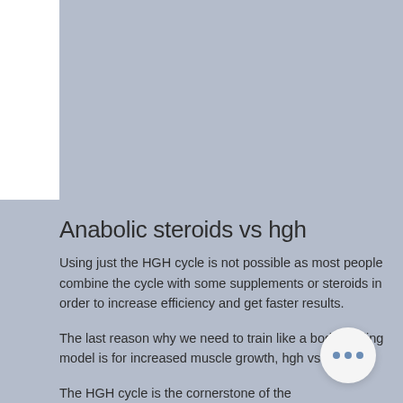[Figure (other): Gray placeholder image area at the top of the page]
Anabolic steroids vs hgh
Using just the HGH cycle is not possible as most people combine the cycle with some supplements or steroids in order to increase efficiency and get faster results.
The last reason why we need to train like a bodybuilding model is for increased muscle growth, hgh vs tren.
The HGH cycle is the cornerstone of the